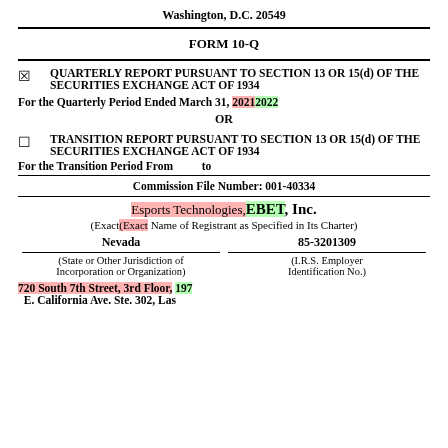Washington, D.C. 20549
FORM 10-Q
☒  QUARTERLY REPORT PURSUANT TO SECTION 13 OR 15(d) OF THE SECURITIES EXCHANGE ACT OF 1934
For the Quarterly Period Ended March 31, 20212022
OR
☐  TRANSITION REPORT PURSUANT TO SECTION 13 OR 15(d) OF THE SECURITIES EXCHANGE ACT OF 1934
For the Transition Period From        to
Commission File Number: 001-40334
Esports Technologies, EBET, Inc.
(Exact(Exact Name of Registrant as Specified in Its Charter)
| Nevada | 85-3201309 |
| --- | --- |
| (State or Other Jurisdiction of Incorporation or Organization) | (I.R.S. Employer Identification No.) |
720 South 7th Street, 3rd Floor, 197 E. California Ave. Ste. 302, Las